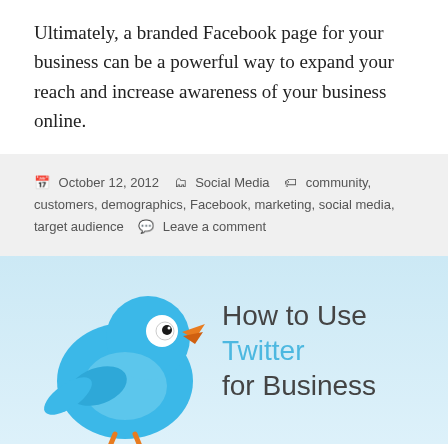Ultimately, a branded Facebook page for your business can be a powerful way to expand your reach and increase awareness of your business online.
October 12, 2012  Social Media  community, customers, demographics, Facebook, marketing, social media, target audience  Leave a comment
[Figure (illustration): A light blue background banner featuring a cartoon blue Twitter bird illustration on the left, and the text 'How to Use Twitter for Business' on the right, with 'Twitter' in blue and the rest in dark gray.]